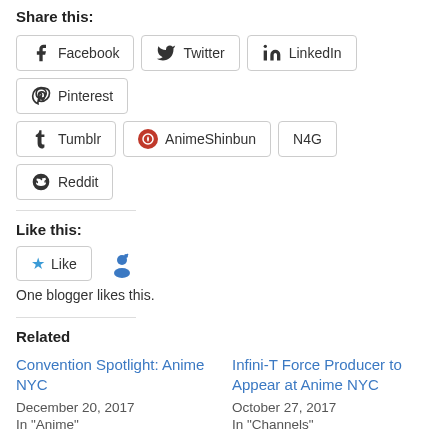Share this:
Facebook  Twitter  LinkedIn  Pinterest  Tumblr  AnimeShinbun  N4G  Reddit
Like this:
Like  [blogger avatar]
One blogger likes this.
Related
Convention Spotlight: Anime NYC
December 20, 2017
In "Anime"
Infini-T Force Producer to Appear at Anime NYC
October 27, 2017
In "Channels"
PR: Anime NYC Announces Schedule of Events for Inaugural Show
November 7, 2017
In "Anime"